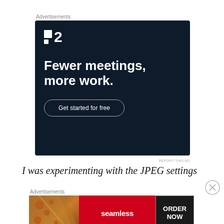[Figure (illustration): Advertisement banner for Planview (P2) project management software. Dark navy background. Logo with two white squares and '2'. Large bold white text: 'Fewer meetings, more work.' Button: 'Get started for free'. Small gray text: 'REPORT THIS AD'.]
I was experimenting with the JPEG settings
[Figure (illustration): Seamless food ordering advertisement banner. Left: pizza image. Center: Red box with 'seamless' logo. Right: Dark box with bordered text 'ORDER NOW'. Small gray text: 'REPORT THIS AD'.]